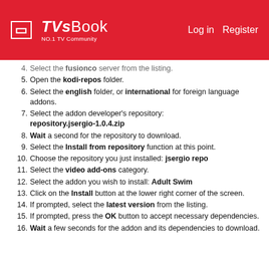TVsBook NO.1 TV Community | Log in | Register
4. Select the fusionco server from the listing.
5. Open the kodi-repos folder.
6. Select the english folder, or international for foreign language addons.
7. Select the addon developer's repository: repository.jsergio-1.0.4.zip
8. Wait a second for the repository to download.
9. Select the Install from repository function at this point.
10. Choose the repository you just installed: jsergio repo
11. Select the video add-ons category.
12. Select the addon you wish to install: Adult Swim
13. Click on the Install button at the lower right corner of the screen.
14. If prompted, select the latest version from the listing.
15. If prompted, press the OK button to accept necessary dependencies.
16. Wait a few seconds for the addon and its dependencies to download.